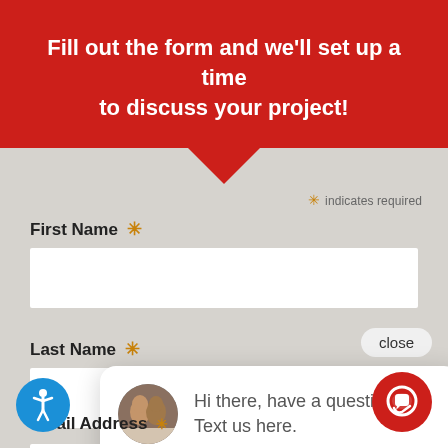Fill out the form and we'll set up a time to discuss your project!
* indicates required
First Name *
Last Name *
close
Hi there, have a question? Text us here.
Email Address *